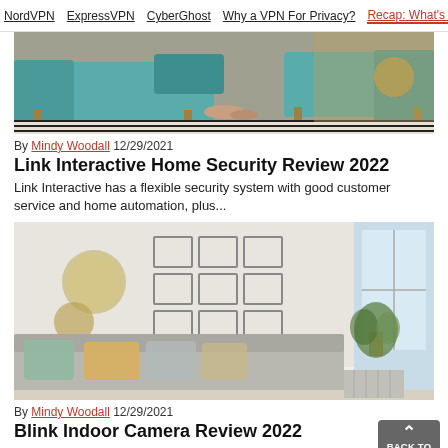NordVPN | ExpressVPN | CyberGhost | Why a VPN For Privacy? | Recap: What's the Best
[Figure (photo): Photo of a teal/turquoise sofa with striped rug and person's feet visible, warm background with plant]
By Mindy Woodall 12/29/2021
Link Interactive Home Security Review 2022
Link Interactive has a flexible security system with good customer service and home automation, plus...
[Figure (photo): Photo of a bright modern living room with decorative wall frames, clock, sofa with pillows, and a plant by the window]
By Mindy Woodall 12/29/2021
Blink Indoor Camera Review 2022